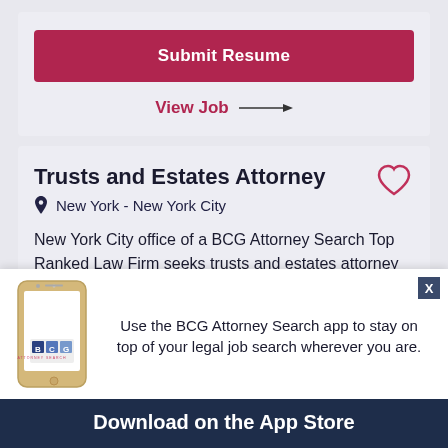Submit Resume
View Job →
Trusts and Estates Attorney
New York - New York City
New York City office of a BCG Attorney Search Top Ranked Law Firm seeks trusts and estates attorney
Use the BCG Attorney Search app to stay on top of your legal job search wherever you are.
Download on the App Store